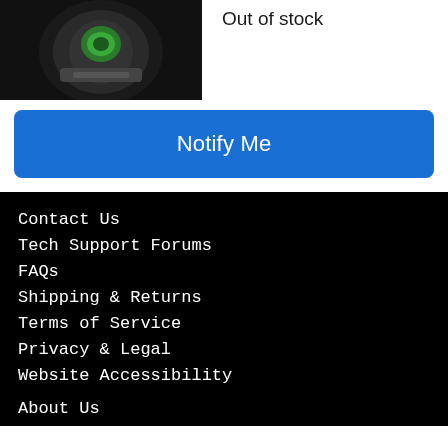[Figure (photo): Close-up photo of a product (appears to be a lens or ring with green element) on dark background]
Out of stock
Notify Me
Contact Us
Tech Support Forums
FAQs
Shipping & Returns
Terms of Service
Privacy & Legal
Website Accessibility
About Us
Press